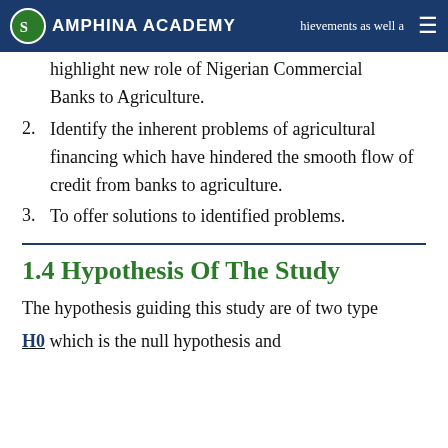AMPHINA ACADEMY | achievements as well as
highlight new role of Nigerian Commercial Banks to Agriculture.
2. Identify the inherent problems of agricultural financing which have hindered the smooth flow of credit from banks to agriculture.
3. To offer solutions to identified problems.
1.4 Hypothesis Of The Study
The hypothesis guiding this study are of two type
H0 which is the null hypothesis and